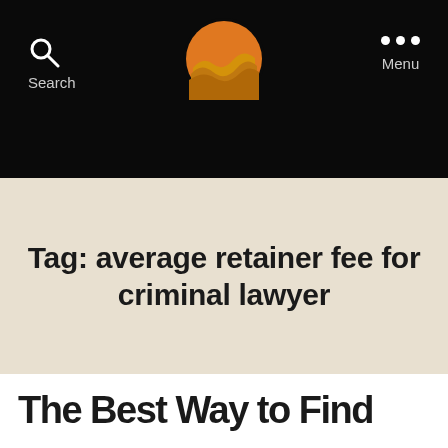Search  Menu
[Figure (logo): Circular logo with orange/yellow sun and wave design on black background]
Tag: average retainer fee for criminal lawyer
The Best Way to Find